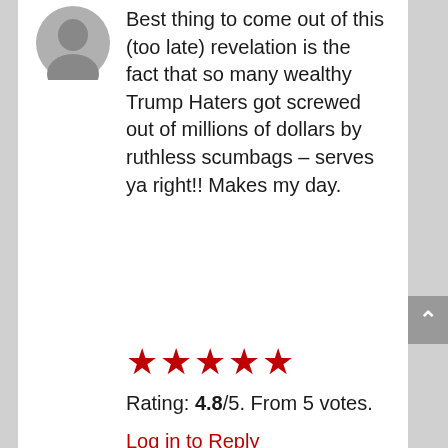[Figure (illustration): Circular grey avatar/profile picture placeholder, top-left of the comment]
Best thing to come out of this (too late) revelation is the fact that so many wealthy Trump Haters got screwed out of millions of dollars by ruthless scumbags – serves ya right!! Makes my day.
[Figure (infographic): Five red star rating icons in a row]
Rating: 4.8/5. From 5 votes.
Log in to Reply